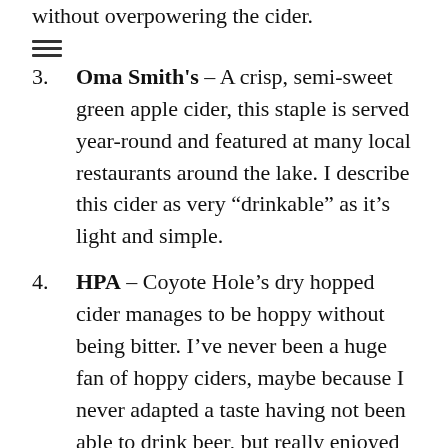without overpowering the cider.
3. Oma Smith's – A crisp, semi-sweet green apple cider, this staple is served year-round and featured at many local restaurants around the lake. I describe this cider as very “drinkable” as it’s light and simple.
4. HPA – Coyote Hole’s dry hopped cider manages to be hoppy without being bitter. I’ve never been a huge fan of hoppy ciders, maybe because I never adapted a taste having not been able to drink beer, but really enjoyed the HPA that hits a good balance of hops and apple.
5. Sparkling Cider – Yes, that’s right. This non-alcoholic option climbs up the list, because I really think Coyote Hole nailed it. Their sparkling cider has a nice light carbonation and is certainly better than the store bought version we all toasted with